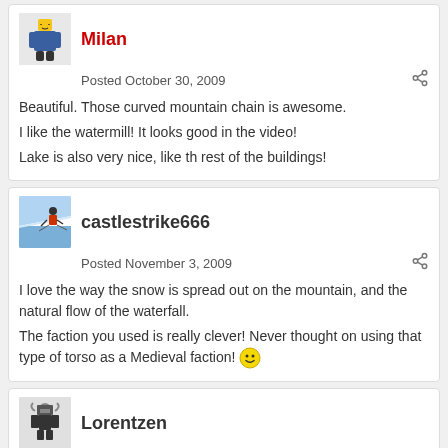Milan
Posted October 30, 2009
Beautiful. Those curved mountain chain is awesome.
I like the watermill! It looks good in the video!
Lake is also very nice, like th rest of the buildings!
castlestrike666
Posted November 3, 2009
I love the way the snow is spread out on the mountain, and the natural flow of the waterfall.
The faction you used is really clever! Never thought on using that type of torso as a Medieval faction! 🙂
Lorentzen
Posted November 3, 2009